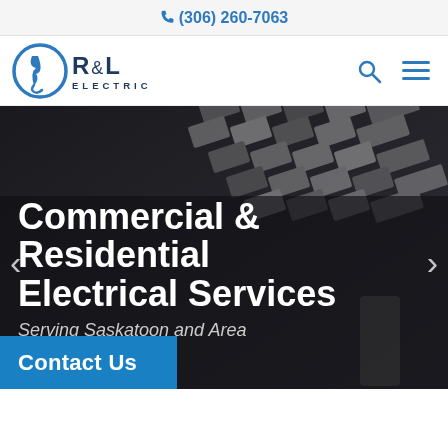(306) 260-7063
[Figure (logo): R&L Electric logo with stylized electrical bolt/plug icon in blue, company name R&L ELECTRIC in dark navy]
Commercial & Residential Electrical Services
Serving Saskatoon and Area
Contact Us